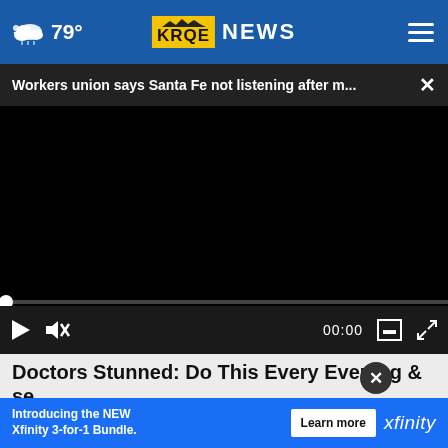79° KRQE NEWS
Workers union says Santa Fe not listening after m... ×
[Figure (screenshot): Black video player area showing no content loaded]
00:00
Doctors Stunned: Do This Every Evening & Lose You
Weigh
Introducing the NEW Xfinity 3-for-1 Bundle. Learn more xfinity